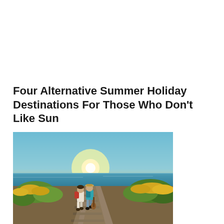Four Alternative Summer Holiday Destinations For Those Who Don't Like Sun
[Figure (photo): A couple walking hand-in-hand along railway tracks toward a sunset over the sea, with yellow wildflowers and green bushes on either side. The woman carries a red backpack, the man wears a hat and carries luggage.]